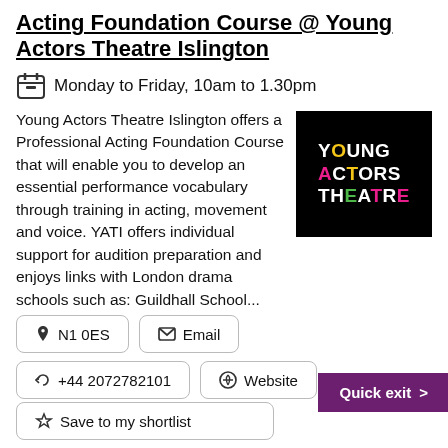Acting Foundation Course @ Young Actors Theatre Islington
Monday to Friday, 10am to 1.30pm
Young Actors Theatre Islington offers a Professional Acting Foundation Course that will enable you to develop an essential performance vocabulary through training in acting, movement and voice. YATI offers individual support for audition preparation and enjoys links with London drama schools such as: Guildhall School...
[Figure (logo): Young Actors Theatre logo: white bold text on black background reading YOUNG ACTORS THEATRE with coloured letters for O, A, T, E]
N1 0ES
Email
+44 2072782101
Website
Save to my shortlist
Quick exit >